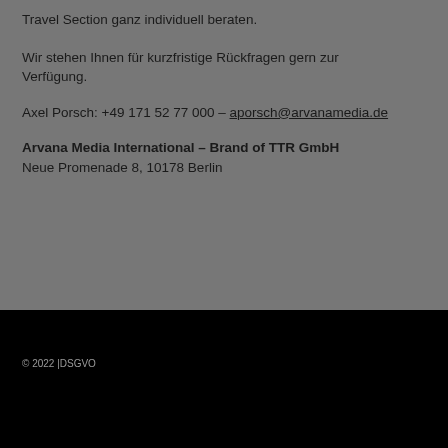Travel Section ganz individuell beraten.
Wir stehen Ihnen für kurzfristige Rückfragen gern zur Verfügung.
Axel Porsch: +49 171 52 77 000 – aporsch@arvanamedia.de
Arvana Media International – Brand of TTR GmbH
Neue Promenade 8, 10178 Berlin
© 2022 |DSGVO